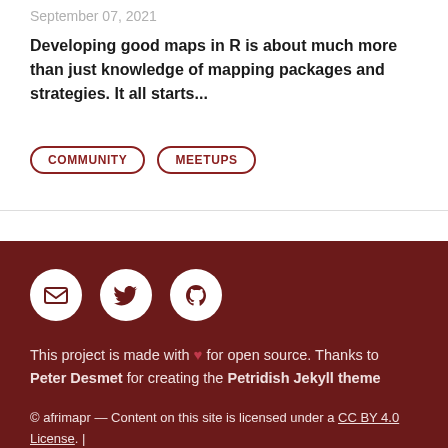September 07, 2021
Developing good maps in R is about much more than just knowledge of mapping packages and strategies. It all starts...
COMMUNITY
MEETUPS
This project is made with ♥ for open source. Thanks to Peter Desmet for creating the Petridish Jekyll theme
© afrimapr — Content on this site is licensed under a CC BY 4.0 License. | Theme: Petridish